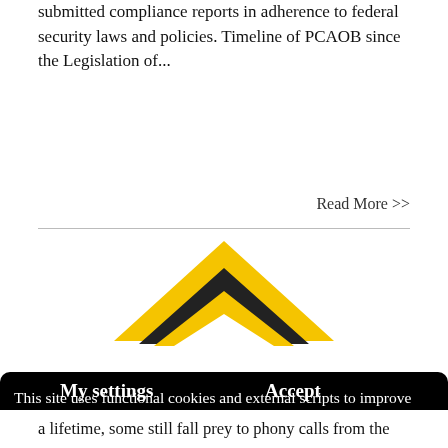submitted compliance reports in adherence to federal security laws and policies. Timeline of PCAOB since the Legislation of...
Read More >>
[Figure (logo): Yellow and black chevron/arrow logo shape pointing upward, partially visible above cookie banner]
This site uses functional cookies and external scripts to improve your experience. We use cookies to improve your experience and optimize user-friendliness. Read our cookie policy for more information on the cookies we use and how to delete or block them. To continue browsing our site, please click accept.
My settings
Accept
a lifetime, some still fall prey to phony calls from the